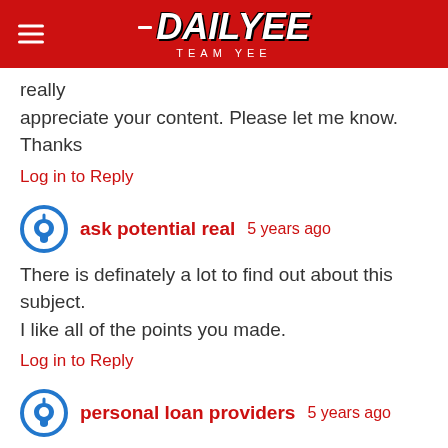DAILYEE TEAM YEE
really appreciate your content. Please let me know. Thanks
Log in to Reply
ask potential real  5 years ago
There is definately a lot to find out about this subject.
I like all of the points you made.
Log in to Reply
personal loan providers  5 years ago
I think this is one of the most important information for me.
And i am glad reading your article. But should